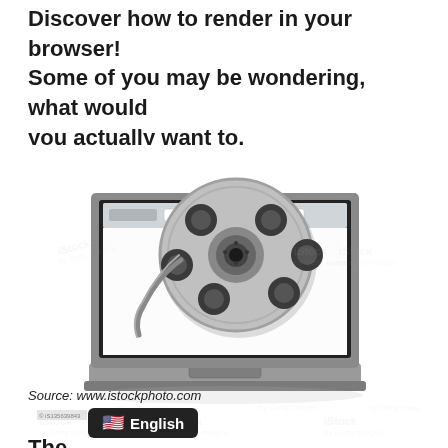Discover how to render in your browser! Some of you may be wondering, what would you actually want to.
[Figure (photo): A laptop computer with a film reel coming out of its screen, displayed as a stock photo with iStock watermarks. The laptop screen shows a browser-like window interface. Multiple iStock watermarks visible across the image.]
Source: www.istockphoto.com
The